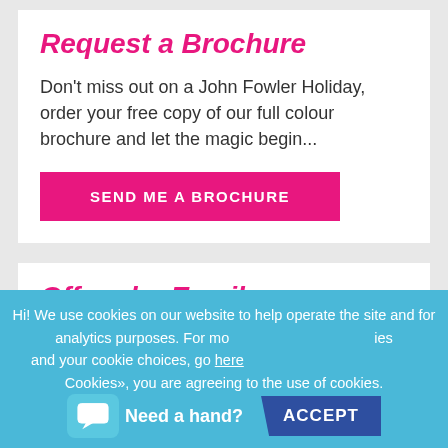Request a Brochure
Don't miss out on a John Fowler Holiday, order your free copy of our full colour brochure and let the magic begin...
SEND ME A BROCHURE
Offers by Email
We promise we won't spam you, but we will keep you up-to-date on sales, discounts, and more!
Hi! We use cookies on our website to help operate the site and for analytics purposes. For mo... ies and your cookie choices, go here Cookies», you are agreeing to the use of cookies.
Need a hand?
ACCEPT